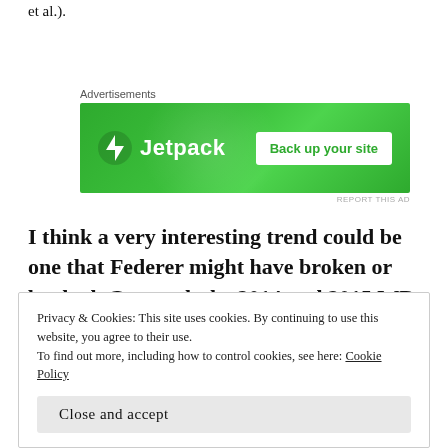et al.).
[Figure (other): Jetpack advertisement banner with green background, Jetpack logo on left and 'Back up your site' button on right]
I think a very interesting trend could be one that Federer might have broken or bucked. Go watch the 2014 and 2015 WB semi-final matches in which Federer routined Raonic and Murray,
Privacy & Cookies: This site uses cookies. By continuing to use this website, you agree to their use.
To find out more, including how to control cookies, see here: Cookie Policy
[Close and accept]